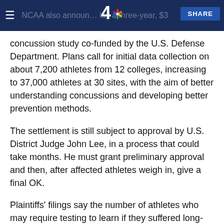NCAA also announced today a three-year, $3… SHARE
concussion study co-funded by the U.S. Defense Department. Plans call for initial data collection on about 7,200 athletes from 12 colleges, increasing to 37,000 athletes at 30 sites, with the aim of better understanding concussions and developing better prevention methods.
The settlement is still subject to approval by U.S. District Judge John Lee, in a process that could take months. He must grant preliminary approval and then, after affected athletes weigh in, give a final OK.
Plaintiffs' filings say the number of athletes who may require testing to learn if they suffered long-term damage runs into the tens of thousands. They cite NCAA figures that from 2004 to 2009 alone, 29,225 NCAA athletes suffered